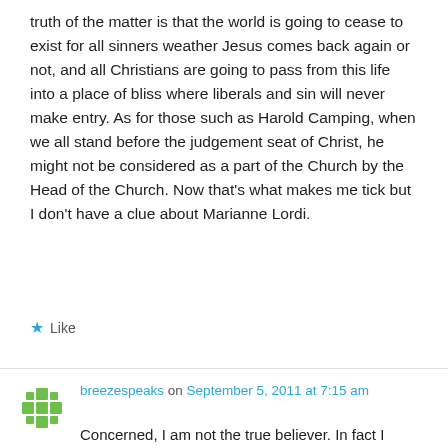truth of the matter is that the world is going to cease to exist for all sinners weather Jesus comes back again or not, and all Christians are going to pass from this life into a place of bliss where liberals and sin will never make entry. As for those such as Harold Camping, when we all stand before the judgement seat of Christ, he might not be considered as a part of the Church by the Head of the Church. Now that's what makes me tick but I don't have a clue about Marianne Lordi.
★ Like
breezespeaks on September 5, 2011 at 7:15 am
Concerned, I am not the true believer. In fact I